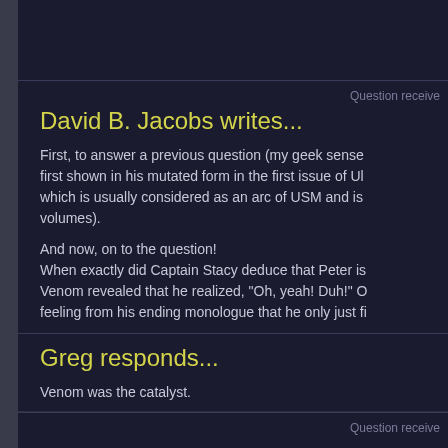Question receive
David B. Jacobs writes...
First, to answer a previous question (my geek sense first shown in his mutated form in the first issue of Ul which is usually considered as an arc of USM and is volumes).
And now, on to the question! When exactly did Captain Stacy deduce that Peter is Venom revealed that he realized, "Oh, yeah! Duh!" O feeling from his ending monologue that he only just fi
Greg responds...
Venom was the catalyst.
Question receive